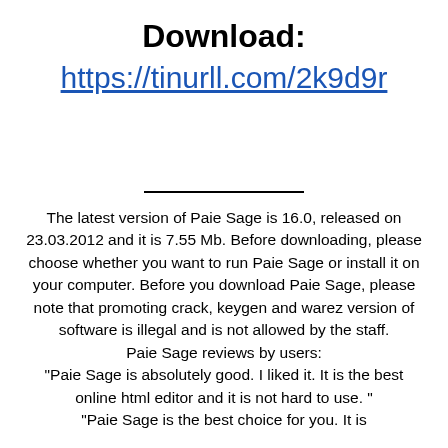Download:
https://tinurll.com/2k9d9r
The latest version of Paie Sage is 16.0, released on 23.03.2012 and it is 7.55 Mb. Before downloading, please choose whether you want to run Paie Sage or install it on your computer. Before you download Paie Sage, please note that promoting crack, keygen and warez version of software is illegal and is not allowed by the staff. Paie Sage reviews by users: "Paie Sage is absolutely good. I liked it. It is the best online html editor and it is not hard to use. " "Paie Sage is the best choice for you. It is